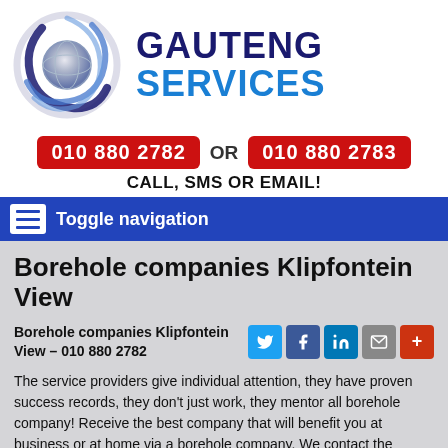[Figure (logo): Gauteng Services logo with globe/swirl graphic and company name]
010 880 2782 OR 010 880 2783
CALL, SMS OR EMAIL!
Toggle navigation
Borehole companies Klipfontein View
Borehole companies Klipfontein View – 010 880 2782
The service providers give individual attention, they have proven success records, they don't just work, they mentor all borehole company! Receive the best company that will benefit you at business or at home via a borehole company. We contact the borehole company service providers on your behalf to get you reliable services; if you are not happy with their terms we will arrange another company for you.